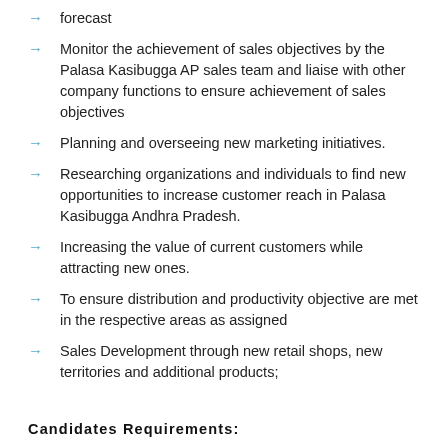forecast
Monitor the achievement of sales objectives by the Palasa Kasibugga AP sales team and liaise with other company functions to ensure achievement of sales objectives
Planning and overseeing new marketing initiatives.
Researching organizations and individuals to find new opportunities to increase customer reach in Palasa Kasibugga Andhra Pradesh.
Increasing the value of current customers while attracting new ones.
To ensure distribution and productivity objective are met in the respective areas as assigned
Sales Development through new retail shops, new territories and additional products;
Candidates Requirements:
Candidate must have completed graduation from any approved university of